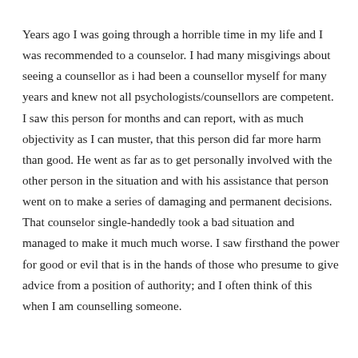Years ago I was going through a horrible time in my life and I was recommended to a counselor. I had many misgivings about seeing a counsellor as i had been a counsellor myself for many years and knew not all psychologists/counsellors are competent. I saw this person for months and can report, with as much objectivity as I can muster, that this person did far more harm than good. He went as far as to get personally involved with the other person in the situation and with his assistance that person went on to make a series of damaging and permanent decisions. That counselor single-handedly took a bad situation and managed to make it much much worse. I saw firsthand the power for good or evil that is in the hands of those who presume to give advice from a position of authority; and I often think of this when I am counselling someone.